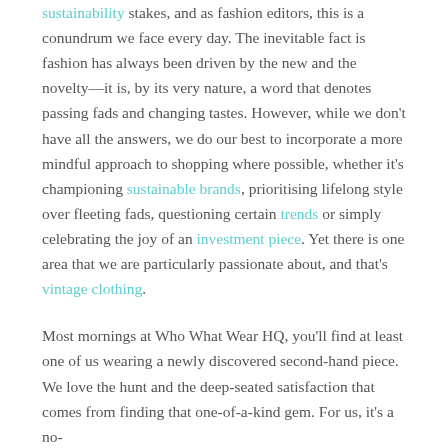sustainability stakes, and as fashion editors, this is a conundrum we face every day. The inevitable fact is fashion has always been driven by the new and the novelty—it is, by its very nature, a word that denotes passing fads and changing tastes. However, while we don't have all the answers, we do our best to incorporate a more mindful approach to shopping where possible, whether it's championing sustainable brands, prioritising lifelong style over fleeting fads, questioning certain trends or simply celebrating the joy of an investment piece. Yet there is one area that we are particularly passionate about, and that's vintage clothing.
Most mornings at Who What Wear HQ, you'll find at least one of us wearing a newly discovered second-hand piece. We love the hunt and the deep-seated satisfaction that comes from finding that one-of-a-kind gem. For us, it's a no-